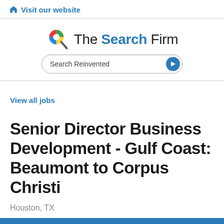Visit our website
[Figure (logo): The Search Firm logo with colorful magnifier icon and 'Search Reinvented' search bar]
View all jobs
Senior Director Business Development - Gulf Coast: Beaumont to Corpus Christi
Houston, TX